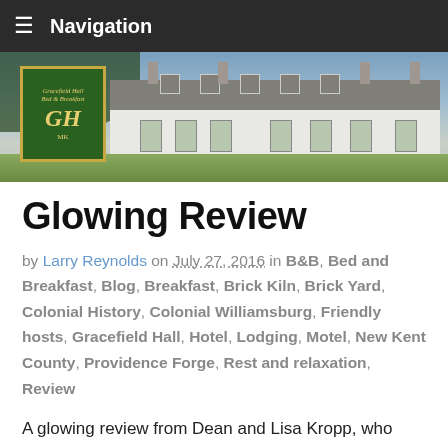Navigation
[Figure (photo): Exterior photo of Gracefield Hall Bed & Breakfast, a large white colonial-style building with dormer windows, alongside a green sign with gold border reading 'Gracefield Hall Bed & Breakfast GH']
Glowing Review
by Larry Reynolds on July 27, 2016 in B&B, Bed and Breakfast, Blog, Breakfast, Brick Kiln, Brick Yard, Colonial History, Colonial Williamsburg, Friendly hosts, Gracefield Hall, Hotel, Lodging, Motel, New Kent County, Providence Forge, Rest and relaxation, Review
A glowing review from Dean and Lisa Kropp, who spent four days at Gracefield Hall while they attended a friend's wedding, and it is a real winner. Here are a few nice...